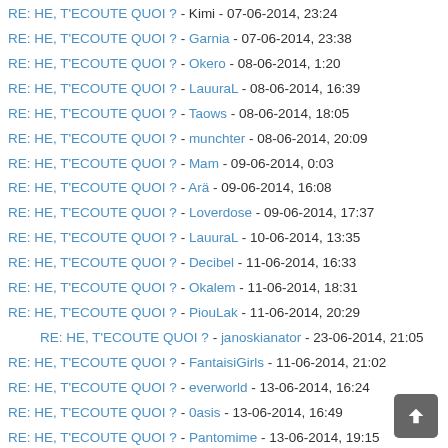RE: HE, T'ECOUTE QUOI ? - Kimi - 07-06-2014, 23:24
RE: HE, T'ECOUTE QUOI ? - Garnia - 07-06-2014, 23:38
RE: HE, T'ECOUTE QUOI ? - Okero - 08-06-2014, 1:20
RE: HE, T'ECOUTE QUOI ? - LauuraL - 08-06-2014, 16:39
RE: HE, T'ECOUTE QUOI ? - Taows - 08-06-2014, 18:05
RE: HE, T'ECOUTE QUOI ? - munchter - 08-06-2014, 20:09
RE: HE, T'ECOUTE QUOI ? - Mam - 09-06-2014, 0:03
RE: HE, T'ECOUTE QUOI ? - Arä - 09-06-2014, 16:08
RE: HE, T'ECOUTE QUOI ? - Loverdose - 09-06-2014, 17:37
RE: HE, T'ECOUTE QUOI ? - LauuraL - 10-06-2014, 13:35
RE: HE, T'ECOUTE QUOI ? - Decibel - 11-06-2014, 16:33
RE: HE, T'ECOUTE QUOI ? - Okalem - 11-06-2014, 18:31
RE: HE, T'ECOUTE QUOI ? - PiouLak - 11-06-2014, 20:29
RE: HE, T'ECOUTE QUOI ? - janoskianator - 23-06-2014, 21:05
RE: HE, T'ECOUTE QUOI ? - FantaisiGirls - 11-06-2014, 21:02
RE: HE, T'ECOUTE QUOI ? - everworld - 13-06-2014, 16:24
RE: HE, T'ECOUTE QUOI ? - 0asis - 13-06-2014, 16:49
RE: HE, T'ECOUTE QUOI ? - Pantomime - 13-06-2014, 19:15
RE: HE, T'ECOUTE QUOI ? - Gloo - 13-06-2014, 22:57
RE: HE, T'ECOUTE QUOI ? - Nirage - 13-06-2014, 23:00
RE: HE, T'ECOUTE QUOI ? - Okalem - 14-06-2014, 0:25
RE: HE, T'ECOUTE QUOI ? - Kirucchi - 14-06-2014, 0:49
RE: HE, T'ECOUTE QUOI ? - Garnia - 14-06-2014, 1:45